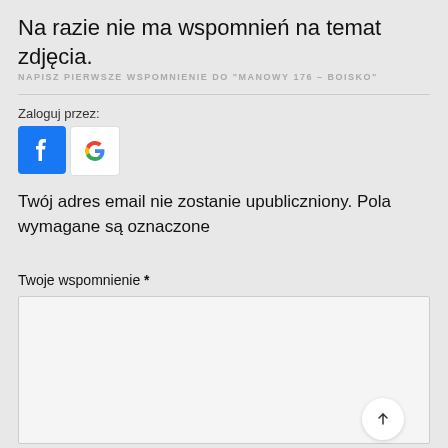Na razie nie ma wspomnień na temat zdjęcia.
NAPISZ PIERWSZE WSPOMNIENIE DO "MANOWY 176 – BOISKO"
Zaloguj przez:
[Figure (other): Facebook and Google social login buttons]
Twój adres email nie zostanie upubliczniony. Pola wymagane są oznaczone
Twoje wspomnienie *
[Figure (other): Text area input field with scroll-to-top button]